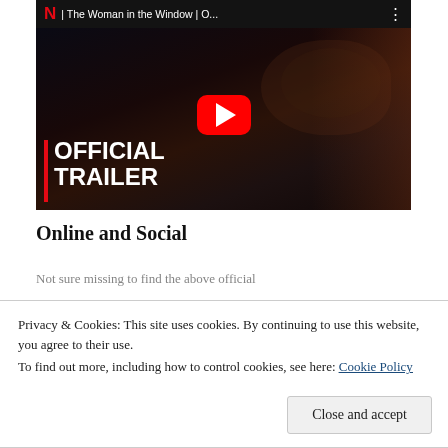[Figure (screenshot): YouTube video thumbnail for 'The Woman in the Window | Official Trailer' on Netflix, showing a woman holding a camera in a dark scene, with a red YouTube play button in the center and 'OFFICIAL TRAILER' text with red bar on the left, Netflix logo at top]
Online and Social
Not sure missing to find the above official...
Privacy & Cookies: This site uses cookies. By continuing to use this website, you agree to their use.
To find out more, including how to control cookies, see here:
Cookie Policy
Close and accept